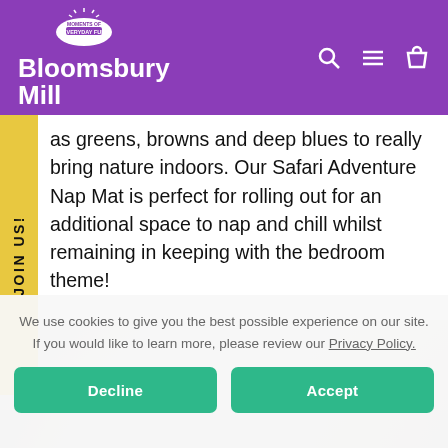Bloomsbury Mill
as greens, browns and deep blues to really bring nature indoors. Our Safari Adventure Nap Mat is perfect for rolling out for an additional space to nap and chill whilst remaining in keeping with the bedroom theme!
JOIN US!
We use cookies to give you the best possible experience on our site. If you would like to learn more, please review our Privacy Policy.
Decline
Accept